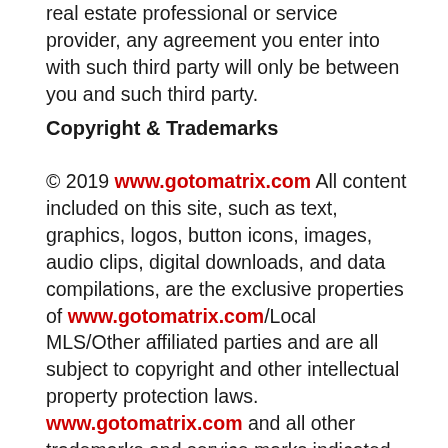real estate professional or service provider, any agreement you enter into with such third party will only be between you and such third party.
Copyright & Trademarks
© 2019 www.gotomatrix.com All content included on this site, such as text, graphics, logos, button icons, images, audio clips, digital downloads, and data compilations, are the exclusive properties of www.gotomatrix.com/Local MLS/Other affiliated parties and are all subject to copyright and other intellectual property protection laws. www.gotomatrix.com and all other trademarks and service marks indicated on our site are the properties of their respective owners. These objects may not be copied for commercial use or